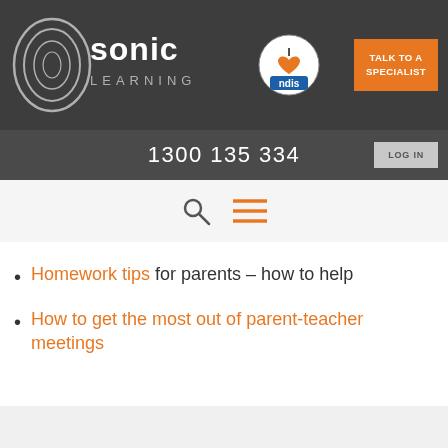Sonic Learning | I love NDIS | TALK TO A SPECIALIST | 1300 135 334 | LOG IN
Homework tips for parents – how to help
How to get the most out of parent-teacher meetings